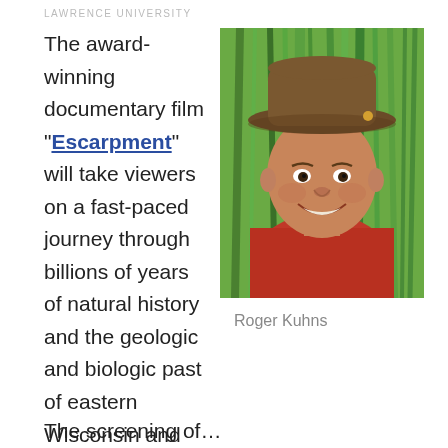LAWRENCE UNIVERSITY
The award-winning documentary film “Escarpment” will take viewers on a fast-paced journey through billions of years of natural history and the geologic and biologic past of eastern Wisconsin and the Niagara Escarpment region of the Great Lakes.
[Figure (photo): Headshot photo of Roger Kuhns, a man wearing a brown hat and red shirt, smiling, with green vegetation in the background.]
Roger Kuhns
The screening of …